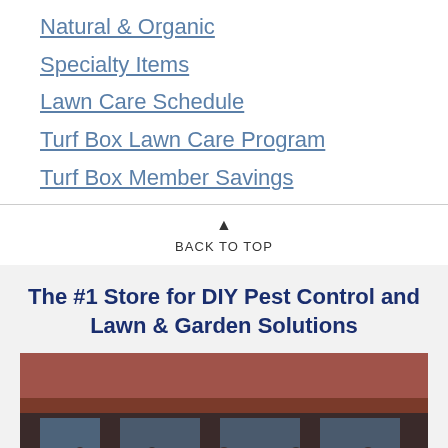Natural & Organic
Specialty Items
Lawn Care Schedule
Turf Box Lawn Care Program
Turf Box Member Savings
▲ BACK TO TOP
The #1 Store for DIY Pest Control and Lawn & Garden Solutions
[Figure (photo): Group photo of staff members standing in front of a store with brick facade]